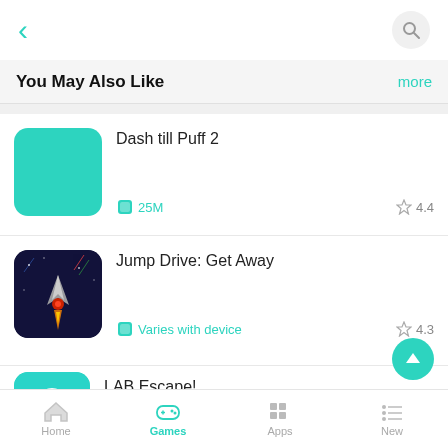< (back) | (search)
You May Also Like  more
[Figure (screenshot): App listing: Dash till Puff 2, teal square icon, 25M size, 4.4 rating]
[Figure (screenshot): App listing: Jump Drive: Get Away, space shooter icon, Varies with device, 4.3 rating]
[Figure (screenshot): App listing: LAB Escape!, ghost character icon]
Home | Games | Apps | New